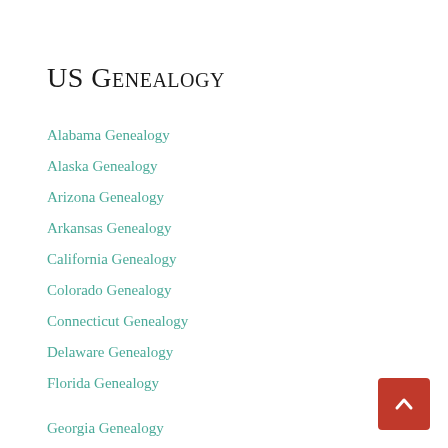US Genealogy
Alabama Genealogy
Alaska Genealogy
Arizona Genealogy
Arkansas Genealogy
California Genealogy
Colorado Genealogy
Connecticut Genealogy
Delaware Genealogy
Florida Genealogy
Georgia Genealogy